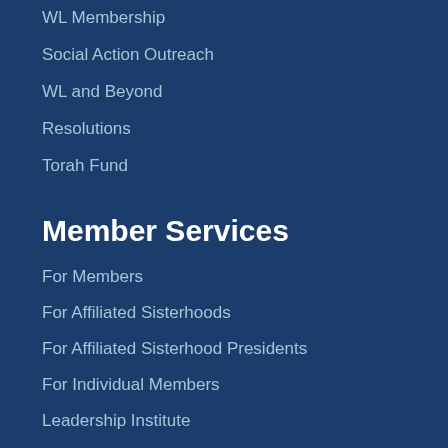WL Membership
Social Action Outreach
WL and Beyond
Resolutions
Torah Fund
Member Services
For Members
For Affiliated Sisterhoods
For Affiliated Sisterhood Presidents
For Individual Members
Leadership Institute
Programs